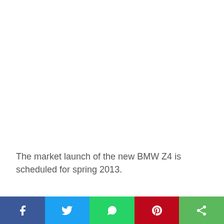The market launch of the new BMW Z4 is scheduled for spring 2013.
BMW Z4 sDrive35is with more
Facebook | Twitter | WhatsApp | Pinterest | Share